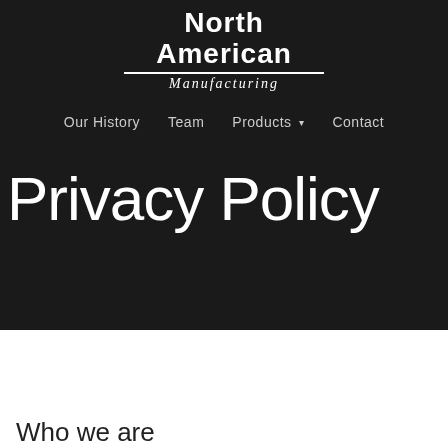[Figure (logo): North American Manufacturing logo — white text on dark background with italic 'Manufacturing' subtitle and horizontal rules]
Our History  Team  Products ▾  Contact
Privacy Policy
Who we are